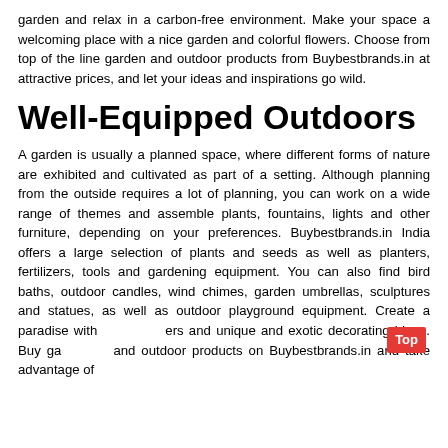garden and relax in a carbon-free environment. Make your space a welcoming place with a nice garden and colorful flowers. Choose from top of the line garden and outdoor products from Buybestbrands.in at attractive prices, and let your ideas and inspirations go wild.
Well-Equipped Outdoors
A garden is usually a planned space, where different forms of nature are exhibited and cultivated as part of a setting. Although planning from the outside requires a lot of planning, you can work on a wide range of themes and assemble plants, fountains, lights and other furniture, depending on your preferences. Buybestbrands.in India offers a large selection of plants and seeds as well as planters, fertilizers, tools and gardening equipment. You can also find bird baths, outdoor candles, wind chimes, garden umbrellas, sculptures and statues, as well as outdoor playground equipment. Create a paradise with flowers and unique and exotic decorating ideas. Buy garden and outdoor products on Buybestbrands.in and take advantage of